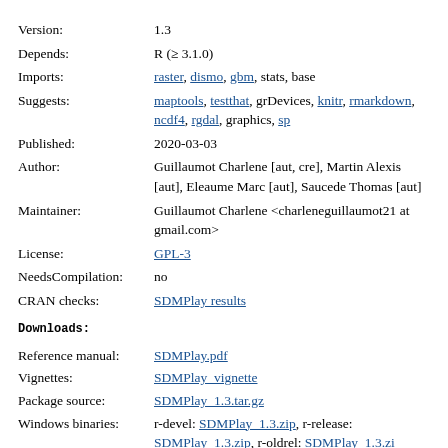| Version: | 1.3 |
| Depends: | R (≥ 3.1.0) |
| Imports: | raster, dismo, gbm, stats, base |
| Suggests: | maptools, testthat, grDevices, knitr, rmarkdown, ncdf4, rgdal, graphics, sp |
| Published: | 2020-03-03 |
| Author: | Guillaumot Charlene [aut, cre], Martin Alexis [aut], Eleaume Marc [aut], Saucede Thomas [aut] |
| Maintainer: | Guillaumot Charlene <charleneguillaumot21 at gmail.com> |
| License: | GPL-3 |
| NeedsCompilation: | no |
| CRAN checks: | SDMPlay results |
Downloads:
| Reference manual: | SDMPlay.pdf |
| Vignettes: | SDMPlay_vignette |
| Package source: | SDMPlay_1.3.tar.gz |
| Windows binaries: | r-devel: SDMPlay_1.3.zip, r-release: |